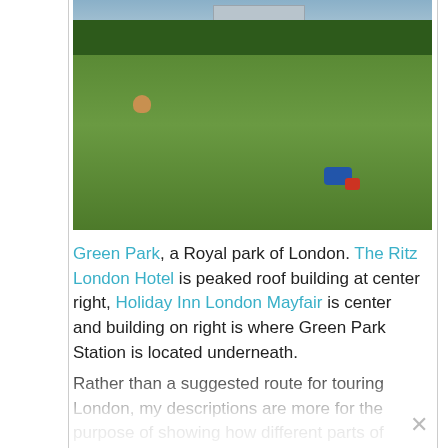[Figure (photo): Photograph of Green Park, London. People relaxing on a large grassy lawn. Trees in the background, buildings including The Ritz London Hotel visible in the distance. A blue and red bag/item is on the grass at center right.]
Green Park, a Royal park of London. The Ritz London Hotel is peaked roof building at center right, Holiday Inn London Mayfair is center and building on right is where Green Park Station is located underneath.
Rather than a suggested route for touring London, my descriptions are more for the purpose of showing how different parts of London are within walking distance above ground, so you don't need to spend all your time taking the Underground and what can